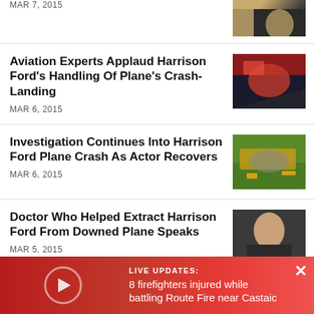MAR 7, 2015
[Figure (photo): Partial thumbnail of a person in a suit]
Aviation Experts Applaud Harrison Ford's Handling Of Plane's Crash-Landing
MAR 6, 2015
[Figure (photo): Photo of a crashed plane with emergency responders in red helmets]
Investigation Continues Into Harrison Ford Plane Crash As Actor Recovers
MAR 6, 2015
[Figure (photo): Photo of a crashed yellow biplane on grass]
Doctor Who Helped Extract Harrison Ford From Downed Plane Speaks
MAR 5, 2015
[Figure (photo): Photo of a dark-haired man looking sideways]
Movie Tough Guy Harrison Ford No Stranger To Getting Banged Up
MAR 5, 2015
LIVE UPDATES: 8 firefighters injured while battling Route Fire near Castaic